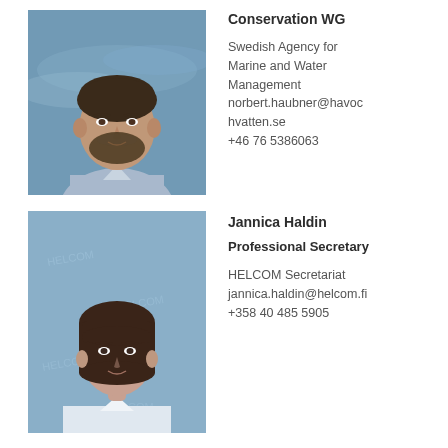[Figure (photo): Headshot photo of a man with beard and short dark hair, wearing a light blue shirt, with water/ocean background]
Conservation WG
Swedish Agency for Marine and Water Management
norbert.haubner@havochvatten.se
+46 76 5386063
[Figure (photo): Headshot photo of a woman with short dark brown hair and bangs, wearing a white shirt, with blue HELCOM-branded background]
Jannica Haldin
Professional Secretary
HELCOM Secretariat
jannica.haldin@helcom.fi
+358 40 485 5905